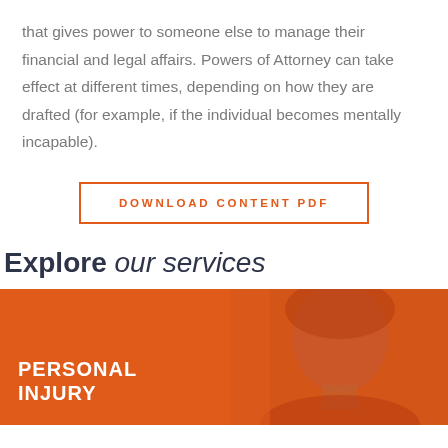that gives power to someone else to manage their financial and legal affairs. Powers of Attorney can take effect at different times, depending on how they are drafted (for example, if the individual becomes mentally incapable).
[Figure (other): Orange-bordered button with text DOWNLOAD CONTENT PDF]
Explore our services
[Figure (photo): Orange banner with a woman's photo overlaid with orange tint, text PERSONAL INJURY in white bold uppercase on the left]